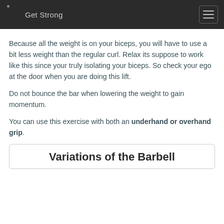Get Strong
Because all the weight is on your biceps, you will have to use a bit less weight than the regular curl. Relax its suppose to work like this since your truly isolating your biceps. So check your ego at the door when you are doing this lift.
Do not bounce the bar when lowering the weight to gain momentum.
You can use this exercise with both an underhand or overhand grip.
Variations of the Barbell